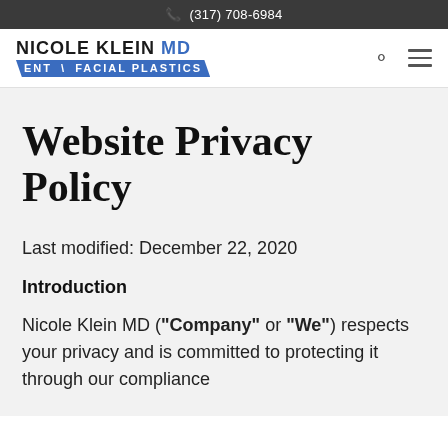(317) 708-6984
[Figure (logo): Nicole Klein MD ENT Facial Plastics logo with blue accent]
Website Privacy Policy
Last modified: December 22, 2020
Introduction
Nicole Klein MD (“Company” or “We”) respects your privacy and is committed to protecting it through our compliance